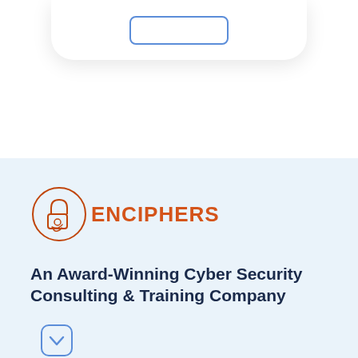[Figure (logo): Enciphers logo: circular padlock icon in orange/brown outline with a hand-shake or key graphic inside, followed by the text ENCIPHERS in bold orange]
An Award-Winning Cyber Security Consulting & Training Company
[Figure (other): Rounded square scroll-down chevron icon with a border, indicating scroll down action]